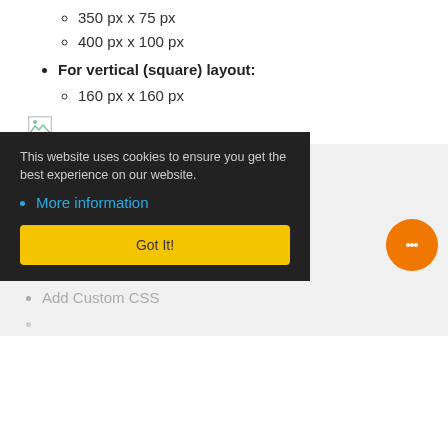350 px x 75 px
400 px x 100 px
For vertical (square) layout:
160 px x 160 px
[Figure (other): Broken/missing image placeholder icon]
Related items
K2_RELATED_INTRO_BY_TAG
Find Module and Module Position
Remove JoomlaShine Copyright
This website uses cookies to ensure you get the best experience on our website.
More information
Got It!
Add Custom CSS
[Figure (other): Orange circular chat/message button in bottom right]